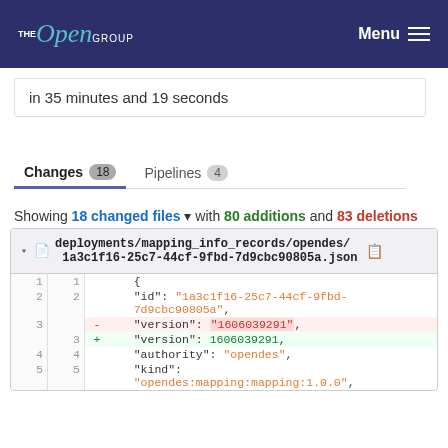The Open Group — Menu
in 35 minutes and 19 seconds
Changes 18   Pipelines 4
Showing 18 changed files with 80 additions and 83 deletions
deployments/mapping_info_records/opendes/1a3c1f16-25c7-44cf-9fbd-7d9cbc90805a.json
| old line | new line | diff | code |
| --- | --- | --- | --- |
| 1 | 1 |  |    { |
| 2 | 2 |  |    "id": "1a3c1f16-25c7-44cf-9fbd-7d9cbc90805a", |
| 3 |  | - |    "version": "1606039291", |
|  | 3 | + |    "version": 1606039291, |
| 4 | 4 |  |    "authority": "opendes", |
| 5 | 5 |  |    "kind": "opendes:mapping:mapping:1.0.0", |